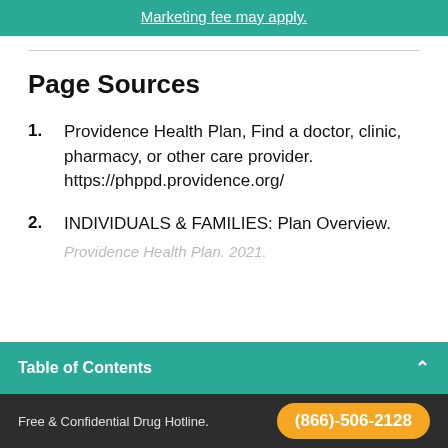Marketing fee may apply.
Page Sources
Providence Health Plan, Find a doctor, clinic, pharmacy, or other care provider. https://phppd.providence.org/
INDIVIDUALS & FAMILIES: Plan Overview. Providence Health Plan. 2021.
Table of Contents
Free & Confidential Drug Hotline. (866)-506-2128